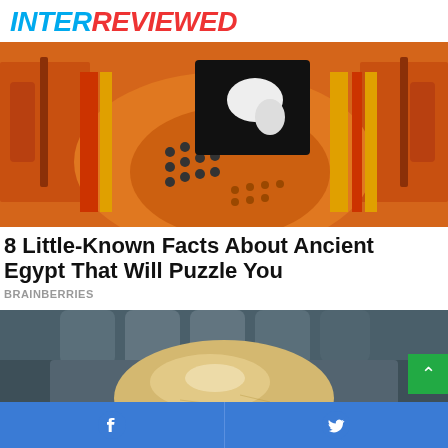INTERREVIEWED
[Figure (illustration): Ancient Egyptian mural painting showing figures with orange/red skin tones, decorative patterns with dots, black headdress area, and striped designs in yellow/orange/red]
8 Little-Known Facts About Ancient Egypt That Will Puzzle You
BRAINBERRIES
[Figure (photo): Close-up photo of a smooth, oval, translucent pale yellow/cream gemstone or resin piece held in a hand against dark grey fabric background]